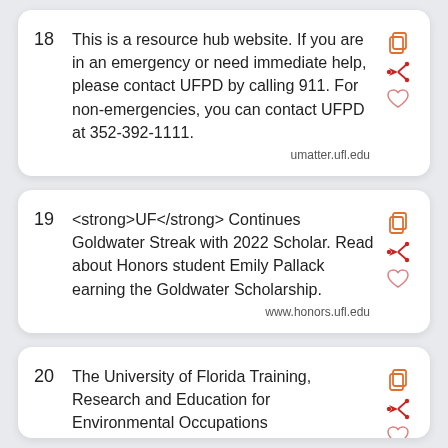18   This is a resource hub website. If you are in an emergency or need immediate help, please contact UFPD by calling 911. For non-emergencies, you can contact UFPD at 352-392-1111.   umatter.ufl.edu
19   <strong>UF</strong> Continues Goldwater Streak with 2022 Scholar. Read about Honors student Emily Pallack earning the Goldwater Scholarship.   www.honors.ufl.edu
20   The University of Florida Training, Research and Education for Environmental Occupations...